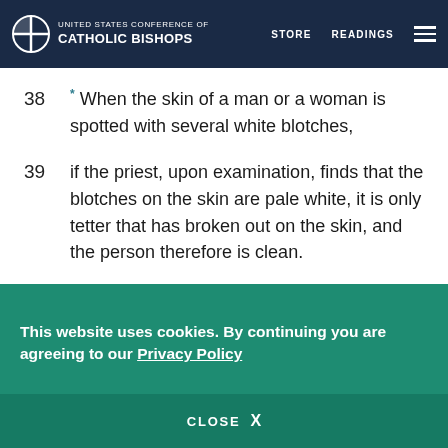United States Conference of Catholic Bishops | STORE  READINGS
38 * When the skin of a man or a woman is spotted with several white blotches,
39 if the priest, upon examination, finds that the blotches on the skin are pale white, it is only tetter that has broken out on the skin, and the person therefore is clean.
40 When a man loses the hair of his head, he is
This website uses cookies. By continuing you are agreeing to our Privacy Policy
CLOSE  X